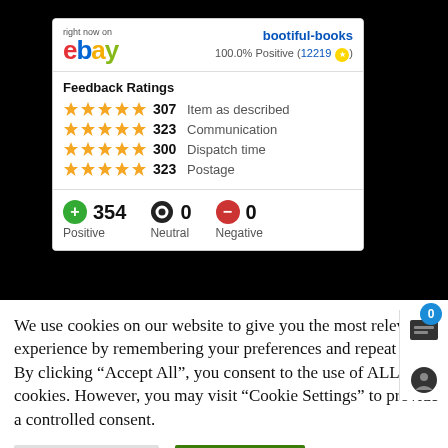[Figure (screenshot): eBay seller widget for 'bootiful-books' showing 100.0% Positive feedback (12219 ratings), Feedback Ratings with star ratings: Item as described 307, Communication 323, Dispatch time 300, Postage 323. Summary: 354 Positive, 0 Neutral, 0 Negative.]
We use cookies on our website to give you the most relevant experience by remembering your preferences and repeat visits. By clicking "Accept All", you consent to the use of ALL the cookies. However, you may visit "Cookie Settings" to provide a controlled consent.